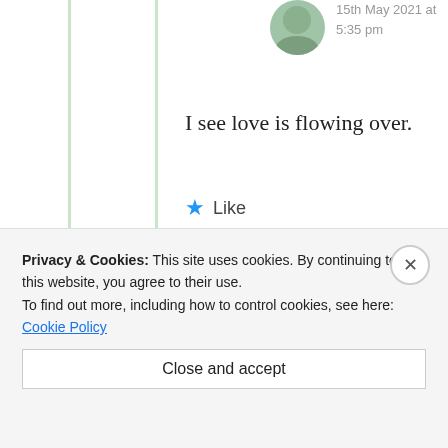15th May 2021 at 5:35 pm
I see love is flowing over.
★ Like
Advertisements
[Figure (logo): Longreads advertisement banner: red background with Longreads logo and tagline 'The best stories on the web – ours, and everyone else's.']
REPORT THIS AD
ashok
Privacy & Cookies: This site uses cookies. By continuing to use this website, you agree to their use.
To find out more, including how to control cookies, see here: Cookie Policy
Close and accept